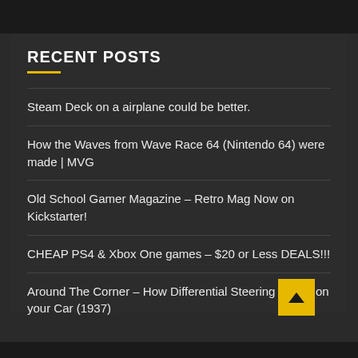RECENT POSTS
Steam Deck on a airplane could be better.
How the Waves from Wave Race 64 (Nintendo 64) were made | MVG
Old School Gamer Magazine – Retro Mag Now on Kickstarter!
CHEAP PS4 & Xbox One games – $20 or Less DEALS!!!
Around The Corner – How Differential Steering Works on your Car (1937)